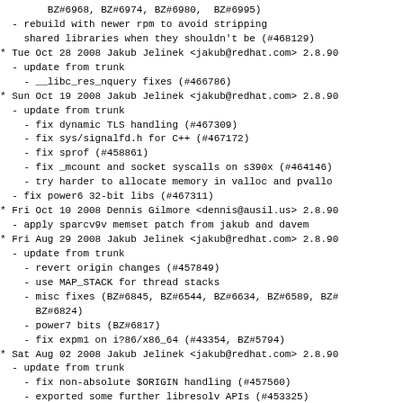BZ#6968, BZ#6974, BZ#6980, BZ#6995)
- rebuild with newer rpm to avoid stripping
    shared libraries when they shouldn't be (#468129)
* Tue Oct 28 2008 Jakub Jelinek <jakub@redhat.com> 2.8.90
  - update from trunk
    - __libc_res_nquery fixes (#466786)
* Sun Oct 19 2008 Jakub Jelinek <jakub@redhat.com> 2.8.90
  - update from trunk
    - fix dynamic TLS handling (#467309)
    - fix sys/signalfd.h for C++ (#467172)
    - fix sprof (#458861)
    - fix _mcount and socket syscalls on s390x (#464146)
    - try harder to allocate memory in valloc and pvallo
  - fix power6 32-bit libs (#467311)
* Fri Oct 10 2008 Dennis Gilmore <dennis@ausil.us> 2.8.90
  - apply sparcv9v memset patch from jakub and davem
* Fri Aug 29 2008 Jakub Jelinek <jakub@redhat.com> 2.8.90
  - update from trunk
    - revert origin changes (#457849)
    - use MAP_STACK for thread stacks
    - misc fixes (BZ#6845, BZ#6544, BZ#6634, BZ#6589, BZ#
      BZ#6824)
    - power7 bits (BZ#6817)
    - fix expm1 on i?86/x86_64 (#43354, BZ#5794)
* Sat Aug 02 2008 Jakub Jelinek <jakub@redhat.com> 2.8.90
  - update from trunk
    - fix non-absolute $ORIGIN handling (#457560)
    - exported some further libresolv APIs (#453325)
    - misc fixes
* Tue Jul 29 2008 Jakub Jelinek <jakub@redhat.com> 2.8.90